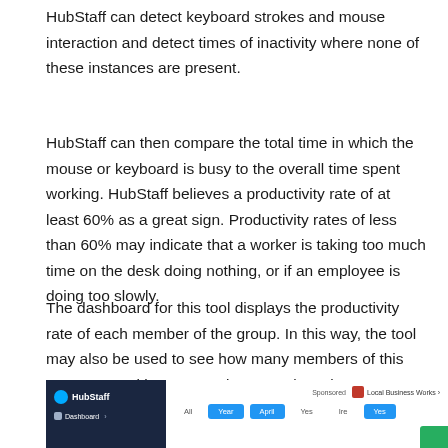HubStaff can detect keyboard strokes and mouse interaction and detect times of inactivity where none of these instances are present.
HubStaff can then compare the total time in which the mouse or keyboard is busy to the overall time spent working. HubStaff believes a productivity rate of at least 60% as a great sign. Productivity rates of less than 60% may indicate that a worker is taking too much time on the desk doing nothing, or if an employee is doing too slowly.
The dashboard for this tool displays the productivity rate of each member of the group. In this way, the tool may also be used to see how many members of this team are working on a project at a given time.
[Figure (screenshot): Screenshot of HubStaff dashboard interface showing the sidebar with HubStaff logo and Dashboard navigation, tab bar with navigation items (some highlighted in blue), and a top bar with organization selector showing 'Local Business Works'.]